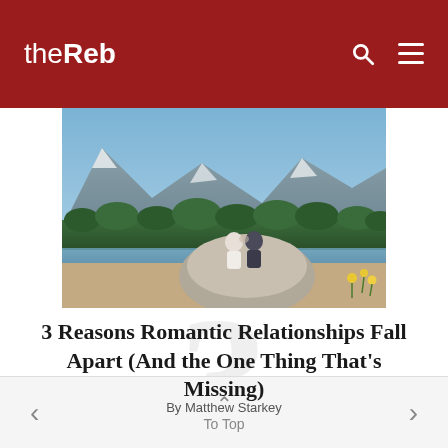theReb
[Figure (photo): A couple sitting on a large rock by a mountain lake, surrounded by forested mountains and a blue sky.]
3 Reasons Romantic Relationships Fall Apart (And the One Thing That's Missing)
By Matthew Starkey
< To Top >